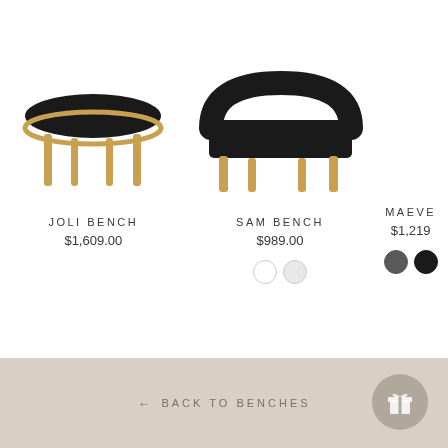[Figure (photo): Black velvet oval bench with gold metal frame and legs - Joli Bench]
JOLI BENCH
$1,609.00
[Figure (photo): Black upholstered bench with curved back and gold metal legs - Sam Bench]
SAM BENCH
$989.00
MAEVE
$1,219
← BACK TO BENCHES